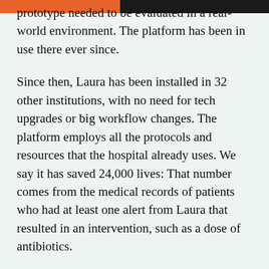prototype needed to be evaluated in a real-world environment. The platform has been in use there ever since.
Since then, Laura has been installed in 32 other institutions, with no need for tech upgrades or big workflow changes. The platform employs all the protocols and resources that the hospital already uses. We say it has saved 24,000 lives: That number comes from the medical records of patients who had at least one alert from Laura that resulted in an intervention, such as a dose of antibiotics.
The Covid-19 pivot
When the coronavirus situation became a